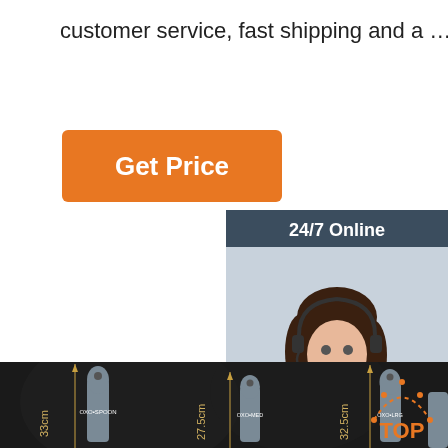customer service, fast shipping and a …
[Figure (other): Orange 'Get Price' button]
[Figure (other): 24/7 Online customer service sidebar with photo of woman with headset, 'Click here for free chat!' text, and orange QUOTATION button]
[Figure (photo): Product photo showing three gray silicone kitchen spoons/spatulas on dark background with measurement annotations: 33cm, 27.5cm, 32.5cm. A partial fourth utensil visible at right with orange TOP badge.]